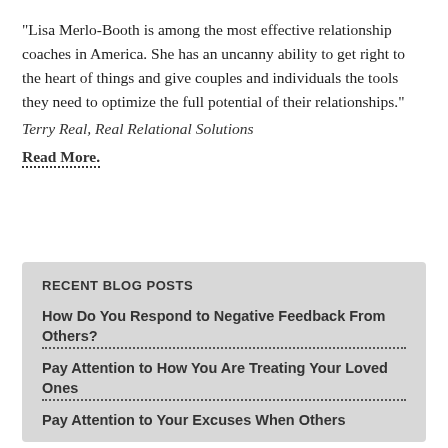"Lisa Merlo-Booth is among the most effective relationship coaches in America. She has an uncanny ability to get right to the heart of things and give couples and individuals the tools they need to optimize the full potential of their relationships."
Terry Real, Real Relational Solutions
Read More.
RECENT BLOG POSTS
How Do You Respond to Negative Feedback From Others?
Pay Attention to How You Are Treating Your Loved Ones
Pay Attention to Your Excuses When Others...